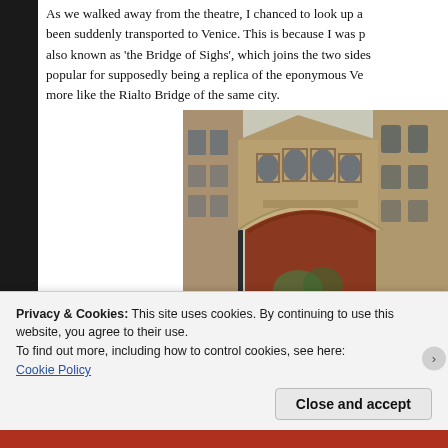As we walked away from the theatre, I chanced to look up and been suddenly transported to Venice. This is because I was also known as 'the Bridge of Sighs', which joins the two sides popular for supposedly being a replica of the eponymous Ve more like the Rialto Bridge of the same city.
[Figure (photo): Photograph of the Bridge of Sighs in Oxford, showing a ornate stone covered bridge with arched windows spanning between two buildings, with an arched passageway below and buildings visible in the background.]
Privacy & Cookies: This site uses cookies. By continuing to use this website, you agree to their use.
To find out more, including how to control cookies, see here:
Cookie Policy
Close and accept